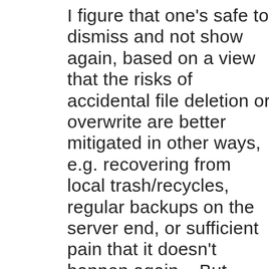I figure that one's safe to dismiss and not show again, based on a view that the risks of accidental file deletion or overwrite are better mitigated in other ways, e.g. recovering from local trash/recycles, regular backups on the server end, or sufficient pain that it doesn't happen again... But then, I'm a CLI guy who's accustomed to working without such safety nets, and FFS does